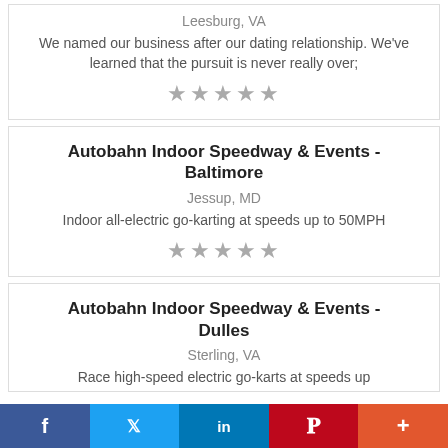Leesburg, VA
We named our business after our dating relationship. We've learned that the pursuit is never really over;
★★★★★
Autobahn Indoor Speedway & Events - Baltimore
Jessup, MD
Indoor all-electric go-karting at speeds up to 50MPH
★★★★★
Autobahn Indoor Speedway & Events - Dulles
Sterling, VA
Race high-speed electric go-karts at speeds up...
f  Twitter  in  P  +